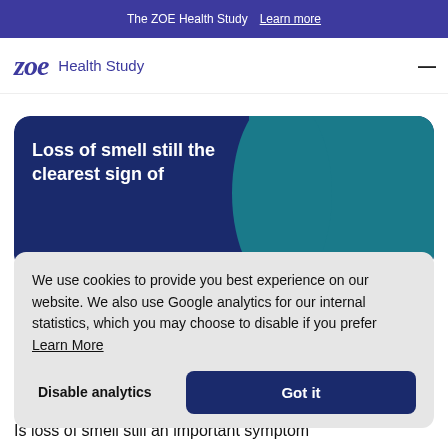The ZOE Health Study  Learn more
zoe  Health Study
[Figure (screenshot): Promotional card with dark blue and teal background. Text reads: Loss of smell still the clearest sign of]
We use cookies to provide you best experience on our website. We also use Google analytics for our internal statistics, which you may choose to disable if you prefer  Learn More
Disable analytics   Got it
Is loss of smell still an important symptom